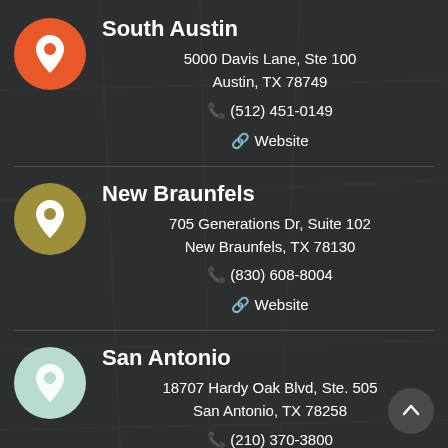[Figure (map): Google Maps background showing Austin/San Antonio area road map with dark overlay]
South Austin
5000 Davis Lane, Ste 100
Austin, TX 78749
(512) 451-0149
Website
New Braunfels
705 Generations Dr, Suite 102
New Braunfels, TX 78130
(830) 608-8004
Website
San Antonio
18707 Hardy Oak Blvd, Ste. 505
San Antonio, TX 78258
(210) 370-3800